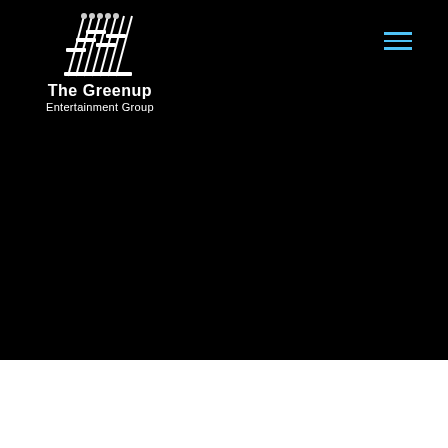[Figure (logo): The Greenup Entertainment Group logo: stylized white mixing board faders/microphones graphic above the text 'The Greenup' and 'Entertainment Group' in white on black background]
[Figure (other): Hamburger menu icon with three horizontal blue lines in top right corner]